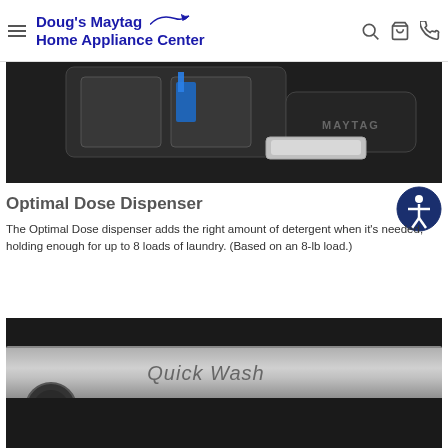Doug's Maytag Home Appliance Center
[Figure (photo): Close-up of a Maytag washer detergent dispenser with blue liquid being poured in, dark background]
Optimal Dose Dispenser
[Figure (logo): Accessibility icon - person in circle]
The Optimal Dose dispenser adds the right amount of detergent when it's needed, holding enough for up to 8 loads of laundry. (Based on an 8-lb load.)
[Figure (photo): Close-up of Maytag washer control panel showing 'Quick Wash' text on a metallic silver surface with dark trim]